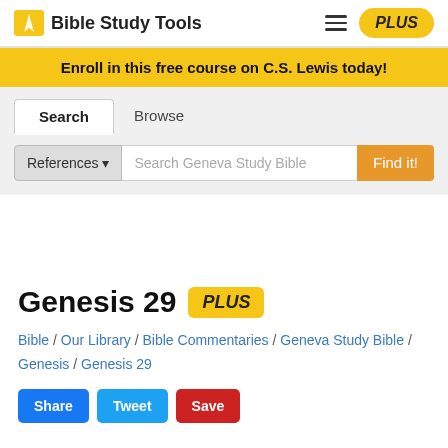Bible Study Tools
Enroll in this free course on C.S. Lewis today!
Search | Browse
References ▾  Search Geneva Study Bible  Find it!
Genesis 29 PLUS
Bible / Our Library / Bible Commentaries / Geneva Study Bible / Genesis / Genesis 29
Share  Tweet  Save